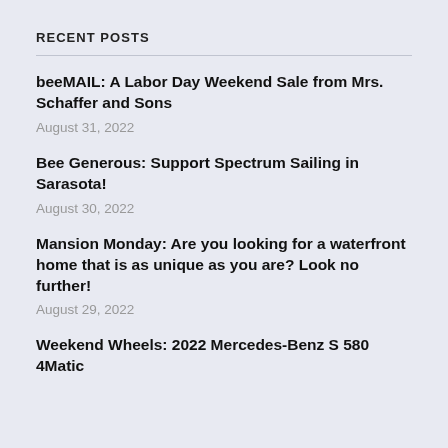RECENT POSTS
beeMAIL: A Labor Day Weekend Sale from Mrs. Schaffer and Sons
August 31, 2022
Bee Generous: Support Spectrum Sailing in Sarasota!
August 30, 2022
Mansion Monday: Are you looking for a waterfront home that is as unique as you are? Look no further!
August 29, 2022
Weekend Wheels: 2022 Mercedes-Benz S 580 4Matic